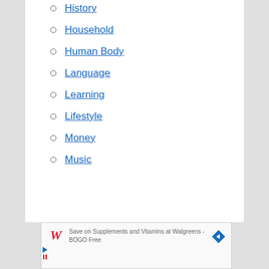History
Household
Human Body
Language
Learning
Lifestyle
Money
Music
[Figure (screenshot): Advertisement for Walgreens: Save on Supplements and Vitamins at Walgreens - BOGO Free, with Walgreens logo and navigation arrow icon]